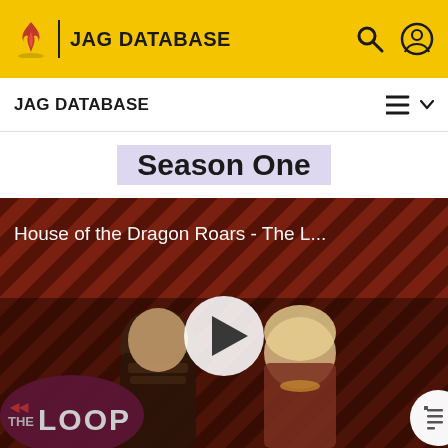JAG DATABASE
JAG DATABASE
Season One
[Figure (screenshot): Video thumbnail for 'House of the Dragon Roars - The L...' showing two characters from House of the Dragon against a red diagonal stripe background with THE LOOP logo overlay and a play button in the center.]